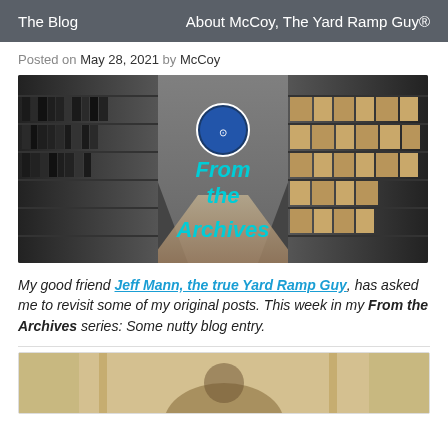The Blog    About McCoy, The Yard Ramp Guy®
Posted on May 28, 2021 by McCoy
[Figure (photo): Archive hallway with shelves of boxes/binders. Overlay: circular logo of The Yard Ramp Guy and text 'From the Archives' in cyan.]
My good friend Jeff Mann, the true Yard Ramp Guy, has asked me to revisit some of my original posts. This week in my From the Archives series: Some nutty blog entry.
[Figure (photo): Partial image of a painting or photo at bottom of page, mostly cropped.]